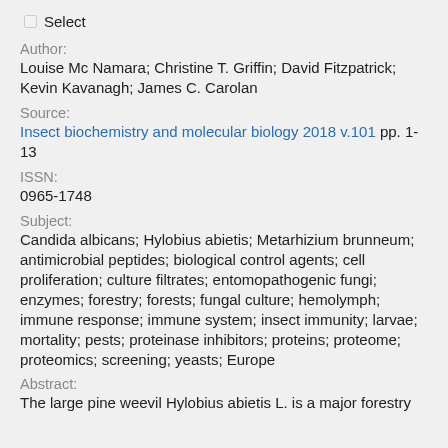☐ Select
Author:
Louise Mc Namara; Christine T. Griffin; David Fitzpatrick; Kevin Kavanagh; James C. Carolan
Source:
Insect biochemistry and molecular biology 2018 v.101 pp. 1-13
ISSN:
0965-1748
Subject:
Candida albicans; Hylobius abietis; Metarhizium brunneum; antimicrobial peptides; biological control agents; cell proliferation; culture filtrates; entomopathogenic fungi; enzymes; forestry; forests; fungal culture; hemolymph; immune response; immune system; insect immunity; larvae; mortality; pests; proteinase inhibitors; proteins; proteome; proteomics; screening; yeasts; Europe
Abstract:
The large pine weevil Hylobius abietis L. is a major forestry